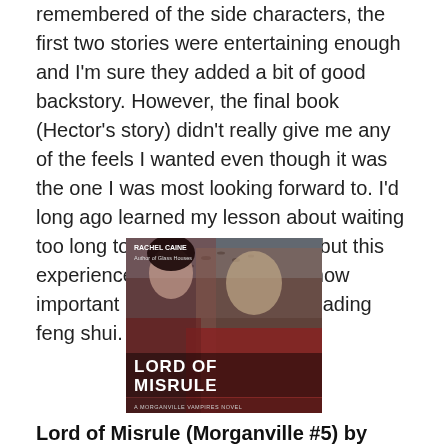remembered of the side characters, the first two stories were entertaining enough and I'm sure they added a bit of good backstory. However, the final book (Hector's story) didn't really give me any of the feels I wanted even though it was the one I was most looking forward to. I'd long ago learned my lesson about waiting too long to get back to a series, but this experience just helps reinforce how important momentum is to my reading feng shui.
[Figure (photo): Book cover of 'Lord of Misrule' by Rachel Caine, showing two people - a woman with dark hair and a young man in a dark red/maroon setting with birds in background. Subtitle reads 'A Morganville Vampires Novel'.]
Lord of Misrule (Morganville #5) by Rachel Caine 3/5